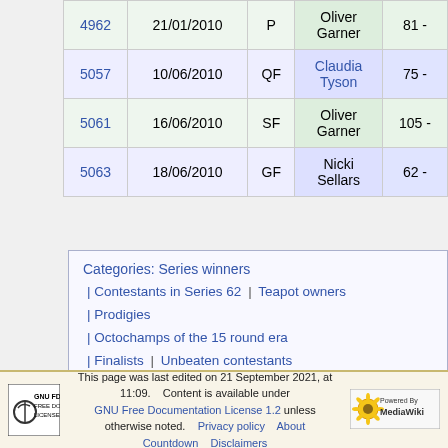| ID | Date | Round | Opponent | Score |
| --- | --- | --- | --- | --- |
| 4962 | 21/01/2010 | P | Oliver Garner | 81 - |
| 5057 | 10/06/2010 | QF | Claudia Tyson | 75 - |
| 5061 | 16/06/2010 | SF | Oliver Garner | 105 - |
| 5063 | 18/06/2010 | GF | Nicki Sellars | 62 - |
Categories: Series winners | Contestants in Series 62 | Teapot owners | Prodigies | Octochamps of the 15 round era | Finalists | Unbeaten contestants | Tournament winners | Contestants on ZoomDown
This page was last edited on 21 September 2021, at 11:09. Content is available under GNU Free Documentation License 1.2 unless otherwise noted. Privacy policy About Countdown Disclaimers